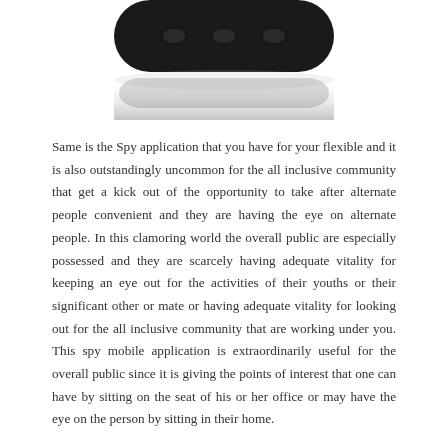[Figure (photo): Bottom portion of a black rounded device (likely a smartphone or spy gadget) with its reflection visible below, against a white background.]
Same is the Spy application that you have for your flexible and it is also outstandingly uncommon for the all inclusive community that get a kick out of the opportunity to take after alternate people convenient and they are having the eye on alternate people. In this clamoring world the overall public are especially possessed and they are scarcely having adequate vitality for keeping an eye out for the activities of their youths or their significant other or mate or having adequate vitality for looking out for the all inclusive community that are working under you. This spy mobile application is extraordinarily useful for the overall public since it is giving the points of interest that one can have by sitting on the seat of his or her office or may have the eye on the person by sitting in their home.
This is the most pleasant and basic methodology that you have for taking after down alternate people convenient. It is profitable from various perspectives like you can have the calls took after, SMS, photo shared, the range of the person that he will call from or getting